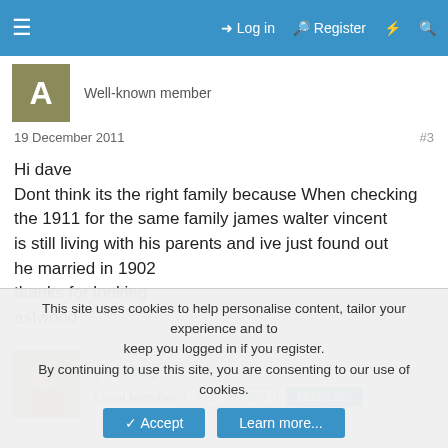≡  Log in  Register  ⚡  🔍
Well-known member
19 December 2011  #3
Hi dave
Dont think its the right family because When checking the 1911 for the same family james walter vincent is still living with his parents and ive just found out he married in 1902
thanks for looking
astwood
p.risboy
Loyal Member  Staff member  Moderator
This site uses cookies to help personalise content, tailor your experience and to keep you logged in if you register.
By continuing to use this site, you are consenting to our use of cookies.
Accept  Learn more...